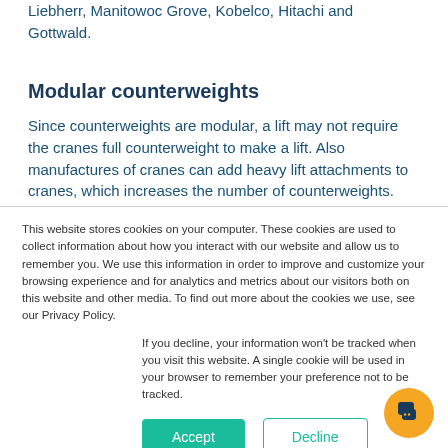Liebherr, Manitowoc Grove, Kobelco, Hitachi and Gottwald.
Modular counterweights
Since counterweights are modular, a lift may not require the cranes full counterweight to make a lift. Also manufactures of cranes can add heavy lift attachments to cranes, which increases the number of counterweights.
This website stores cookies on your computer. These cookies are used to collect information about how you interact with our website and allow us to remember you. We use this information in order to improve and customize your browsing experience and for analytics and metrics about our visitors both on this website and other media. To find out more about the cookies we use, see our Privacy Policy.
If you decline, your information won't be tracked when you visit this website. A single cookie will be used in your browser to remember your preference not to be tracked.
Accept
Decline